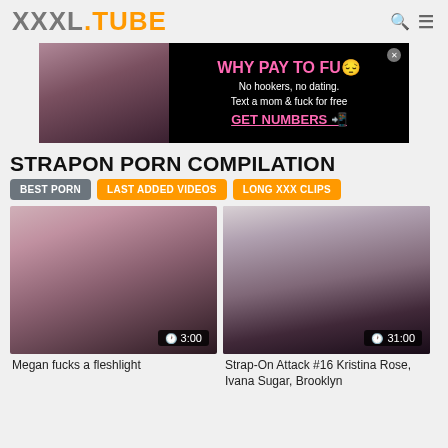XXXL.TUBE
[Figure (photo): Advertisement banner with adult content on left and text 'WHY PAY TO FUCK No hookers, no dating. Text a mom & fuck for free GET NUMBERS' on right]
STRAPON PORN COMPILATION
BEST PORN
LAST ADDED VIDEOS
LONG XXX CLIPS
[Figure (photo): Video thumbnail: woman lying down holding a toy, duration 3:00]
Megan fucks a fleshlight
[Figure (photo): Video thumbnail: adult content, duration 31:00]
Strap-On Attack #16 Kristina Rose, Ivana Sugar, Brooklyn